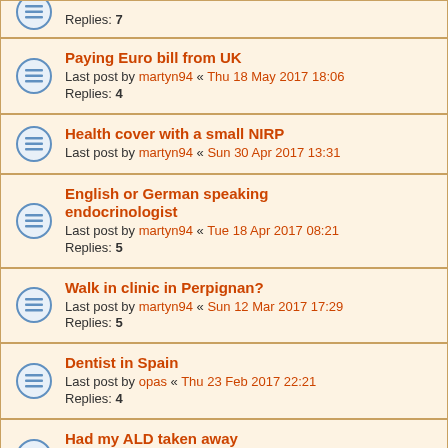Replies: 7
Paying Euro bill from UK
Last post by martyn94 « Thu 18 May 2017 18:06
Replies: 4
Health cover with a small NIRP
Last post by martyn94 « Sun 30 Apr 2017 13:31
English or German speaking endocrinologist
Last post by martyn94 « Tue 18 Apr 2017 08:21
Replies: 5
Walk in clinic in Perpignan?
Last post by martyn94 « Sun 12 Mar 2017 17:29
Replies: 5
Dentist in Spain
Last post by opas « Thu 23 Feb 2017 22:21
Replies: 4
Had my ALD taken away
Last post by Pearsonb « Thu 09 Feb 2017 10:50
Replies: 4